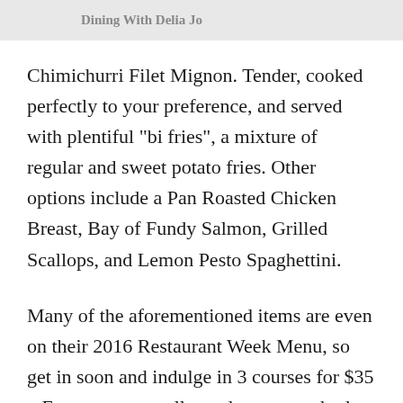Dining With Delia Jo
Chimichurri Filet Mignon. Tender, cooked perfectly to your preference, and served with plentiful "bi fries", a mixture of regular and sweet potato fries. Other options include a Pan Roasted Chicken Breast, Bay of Fundy Salmon, Grilled Scallops, and Lemon Pesto Spaghettini.
Many of the aforementioned items are even on their 2016 Restaurant Week Menu, so get in soon and indulge in 3 courses for $35 – Easy on your wallet and your taste buds.